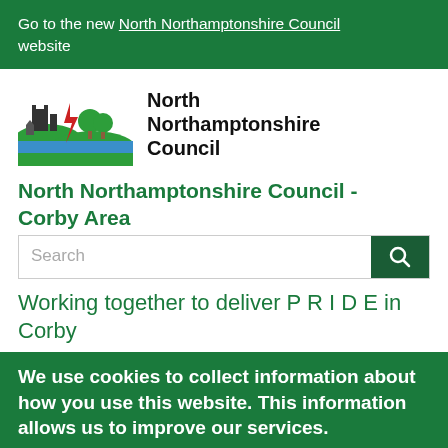Go to the new North Northamptonshire Council website
[Figure (logo): North Northamptonshire Council logo with green landscape, buildings, lightning bolt and trees icon alongside text 'North Northamptonshire Council']
North Northamptonshire Council - Corby Area
Working together to deliver P R I D E in Corby
We use cookies to collect information about how you use this website. This information allows us to improve our services.
Some cookies on this site are essential, and the site won't work as expected without them. These cookies are set when you submit a form, login or interact with the site by doing something